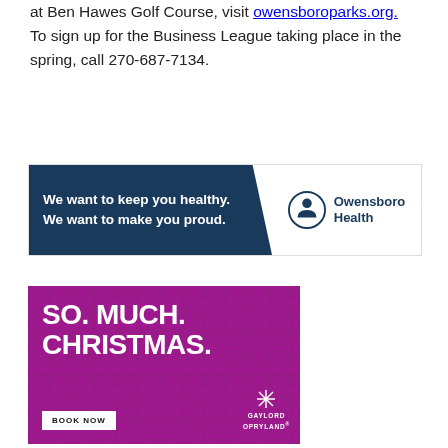at Ben Hawes Golf Course, visit owensboroparks.org. To sign up for the Business League taking place in the spring, call 270-687-7134.
[Figure (infographic): Owensboro Health banner advertisement with dark navy blue diagonal background on left reading 'We want to keep you healthy. We want to make you proud.' and white right section with Owensboro Health logo.]
[Figure (infographic): Gaylord Opryland advertisement on purple/magenta background with triangle pattern. Large white bold text reads 'SO. MUCH. CHRISTMAS.' with a 'BOOK NOW' button and Gaylord Opryland logo at bottom right.]